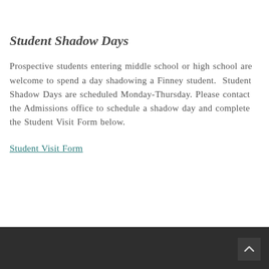Student Shadow Days
Prospective students entering middle school or high school are welcome to spend a day shadowing a Finney student.  Student Shadow Days are scheduled Monday-Thursday. Please contact the Admissions office to schedule a shadow day and complete the Student Visit Form below.
Student Visit Form